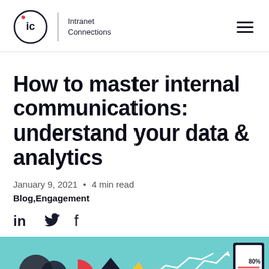Intranet Connections
How to master internal communications: understand your data & analytics
January 9, 2021 • 4 min read
Blog,Engagement
[Figure (other): Social share icons: LinkedIn, Twitter, Facebook]
[Figure (illustration): Decorative header image with teal background showing analytics/data charts and a tablet device]